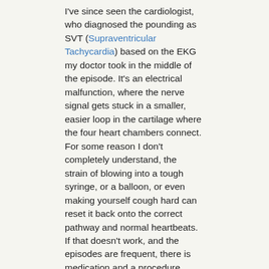I've since seen the cardiologist, who diagnosed the pounding as SVT (Supraventricular Tachycardia) based on the EKG my doctor took in the middle of the episode. It's an electrical malfunction, where the nerve signal gets stuck in a smaller, easier loop in the cartilage where the four heart chambers connect. For some reason I don't completely understand, the strain of blowing into a tough syringe, or a balloon, or even making yourself cough hard can reset it back onto the correct pathway and normal heartbeats. If that doesn't work, and the episodes are frequent, there is medication and a procedure called an ablation that can be done.
I'm praying mine is just a random thing, possibly brought on by a few weeks of steady allergy and cold medicine (thank you, Cedar Fever!) combined by I'm-not-sure-how-many cups of coffee a day I had been drinking. Now I'm paying attention to how much coffee I'm drinking each day, and I'm also making sure I work out regularly and get enough sleep, since stress can play a part in it (although I didn't feel unusually stressed out either time it has happened.)
Getting older is a blessing, but it can also be tricky and